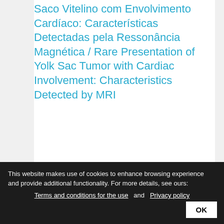Saco Vitelino com Envolvimento Cardíaco: Características Detectadas pela Ressonância Magnética / Rare Presentation of Yolk Sac Tumor with Cardiac Involvement: Characteristics Detected by MRI
Romero, Cristhian Espinoza; Guacho, Williams Roberto Lata; Paula, Kevin Rafael de; Jimenez, Robert Paladines; Fonseca, Eduardo Kaiser Ururahy Nunes.
Arq. bras. cardiol; 119(1): 136-138, abr. 2022. graf.
This website makes use of cookies to enhance browsing experience and provide additional functionality. For more details, see ours: Terms and conditions for the use and Privacy policy